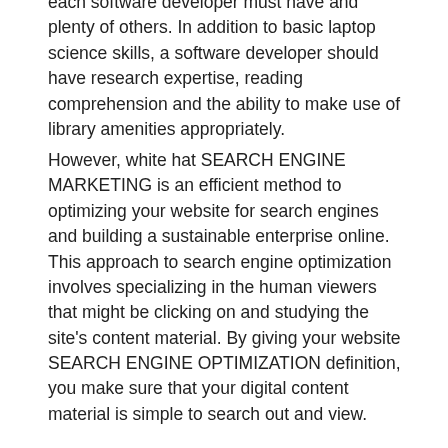each software developer must have and plenty of others. In addition to basic laptop science skills, a software developer should have research expertise, reading comprehension and the ability to make use of library amenities appropriately.
However, white hat SEARCH ENGINE MARKETING is an efficient method to optimizing your website for search engines and building a sustainable enterprise online. This approach to search engine optimization involves specializing in the human viewers that might be clicking on and studying the site's content material. By giving your website SEARCH ENGINE OPTIMIZATION definition, you make sure that your digital content material is simple to search out and view.